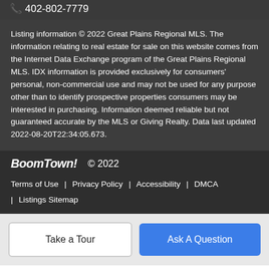📞 402-802-7779
Listing information © 2022 Great Plains Regional MLS. The information relating to real estate for sale on this website comes from the Internet Data Exchange program of the Great Plains Regional MLS. IDX information is provided exclusively for consumers' personal, non-commercial use and may not be used for any purpose other than to identify prospective properties consumers may be interested in purchasing. Information deemed reliable but not guaranteed accurate by the MLS or Giving Realty. Data last updated 2022-08-20T22:34:05.673.
BoomTown! © 2022 | Terms of Use | Privacy Policy | Accessibility | DMCA | Listings Sitemap
Take a Tour
Ask A Question